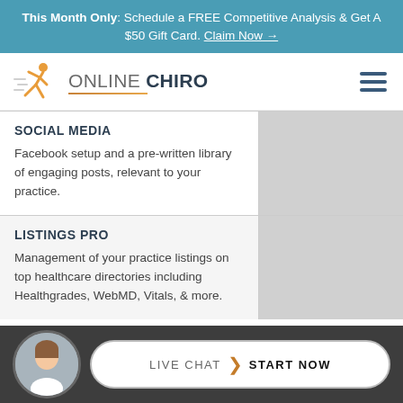This Month Only: Schedule a FREE Competitive Analysis & Get A $50 Gift Card. Claim Now →
[Figure (logo): Online Chiro logo with running figure icon and orange underline]
SOCIAL MEDIA
Facebook setup and a pre-written library of engaging posts, relevant to your practice.
LISTINGS PRO
Management of your practice listings on top healthcare directories including Healthgrades, WebMD, Vitals, & more.
[Figure (infographic): Live Chat – Start Now chat button bar with female avatar at bottom of page]